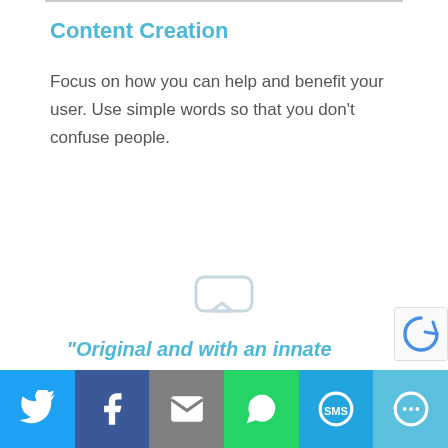Content Creation
Focus on how you can help and benefit your user. Use simple words so that you don't confuse people.
[Figure (illustration): Faint ghost/speech bubble icon placeholder image]
“Original and with an innate
Social share bar with Twitter, Facebook, Email, WhatsApp, SMS, and More buttons